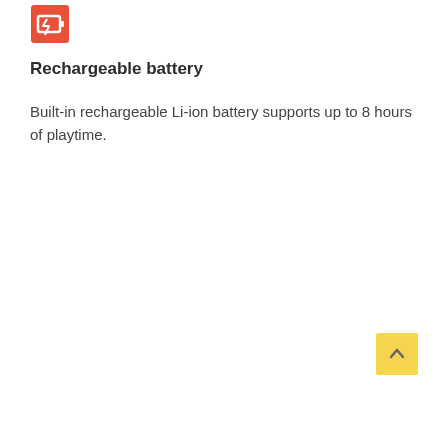[Figure (illustration): Red/orange square icon with a lightning bolt or battery charging symbol, partially visible at top left]
Rechargeable battery
Built-in rechargeable Li-ion battery supports up to 8 hours of playtime.
[Figure (illustration): Yellow square button with an upward-pointing chevron arrow, positioned at bottom right]